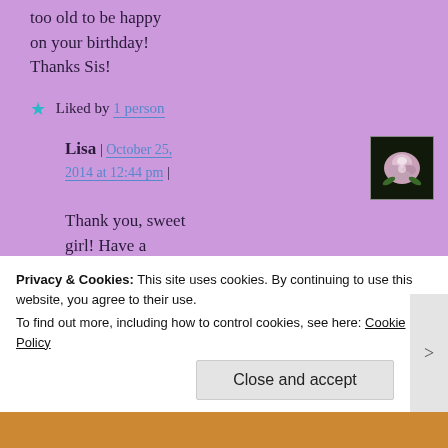too old to be happy on your birthday! Thanks Sis!
★ Liked by 1 person
Lisa | October 25, 2014 at 12:44 pm |
[Figure (photo): A pink rose against a dark background, square thumbnail avatar image]
Thank you, sweet girl! Have a wonderful day! 🙂
♡
Privacy & Cookies: This site uses cookies. By continuing to use this website, you agree to their use. To find out more, including how to control cookies, see here: Cookie Policy
Close and accept